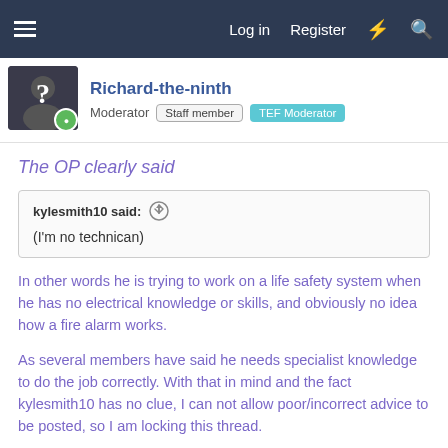Log in  Register
Richard-the-ninth
Moderator  Staff member  TEF Moderator
The OP clearly said
kylesmith10 said:
(I'm no technican)
In other words he is trying to work on a life safety system when he has no electrical knowledge or skills, and obviously no idea how a fire alarm works.
As several members have said he needs specialist knowledge to do the job correctly. With that in mind and the fact kylesmith10 has no clue, I can not allow poor/incorrect advice to be posted, so I am locking this thread.